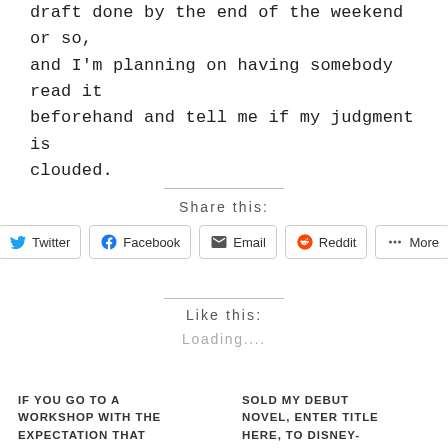draft done by the end of the weekend or so, and I'm planning on having somebody read it beforehand and tell me if my judgment is clouded.
Share this:
Twitter Facebook Email Reddit More
Like this:
Loading....
IF YOU GO TO A WORKSHOP WITH THE EXPECTATION THAT
SOLD MY DEBUT NOVEL, ENTER TITLE HERE, TO DISNEY-